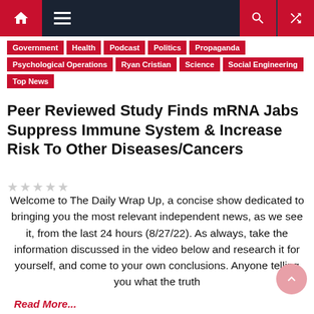Navigation bar with home, menu, search, random icons
Government
Health
Podcast
Politics
Propaganda
Psychological Operations
Ryan Cristian
Science
Social Engineering
Top News
Peer Reviewed Study Finds mRNA Jabs Suppress Immune System & Increase Risk To Other Diseases/Cancers
Welcome to The Daily Wrap Up, a concise show dedicated to bringing you the most relevant independent news, as we see it, from the last 24 hours (8/27/22). As always, take the information discussed in the video below and research it for yourself, and come to your own conclusions. Anyone telling you what the truth
Read More...